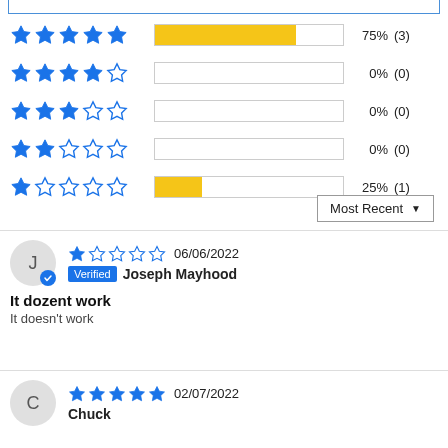[Figure (bar-chart): Star rating distribution]
Most Recent
1 star  06/06/2022  Verified  Joseph Mayhood
It dozent work
It doesn't work
5 stars  02/07/2022  Chuck